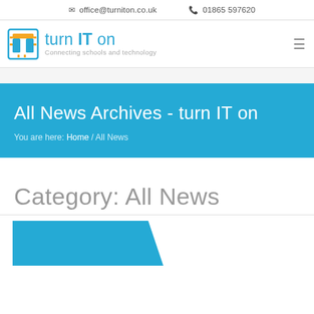office@turniton.co.uk  01865 597620
[Figure (logo): turn IT on logo with circuit-board T icon and tagline Connecting schools and technology]
All News Archives - turn IT on
You are here: Home / All News
Category: All News
[Figure (illustration): Blue angled banner/card shape at bottom of page]